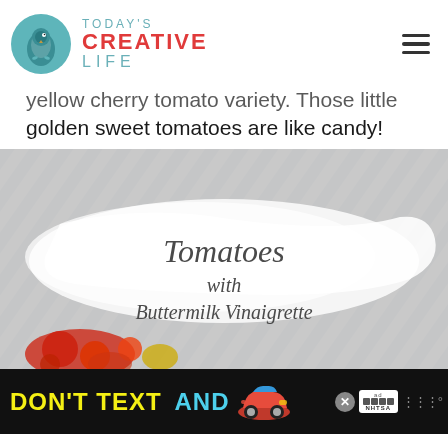[Figure (logo): Today's Creative Life logo with teal bird circle icon and text]
yellow cherry tomato variety. Those little golden sweet tomatoes are like candy!
[Figure (photo): Photo of tomatoes with Buttermilk Vinaigrette, styled recipe image with cursive text overlay on white brush stroke]
[Figure (other): Advertisement banner: DON'T TEXT AND [drive] with car graphic, ad badge, and NHTSA logo]